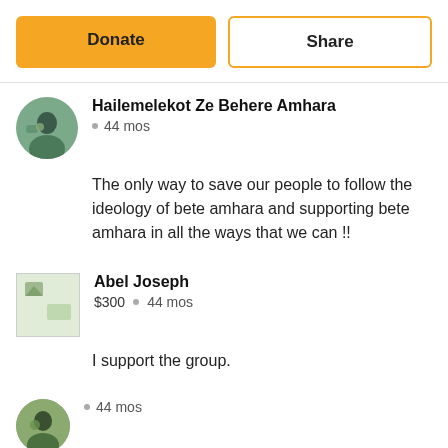Donate
Share
Hailemelekot Ze Behere Amhara
44 mos
The only way to save our people to follow the ideology of bete amhara and supporting bete amhara in all the ways that we can !!
Abel Joseph
$300  •  44 mos
I support the group.
44 mos